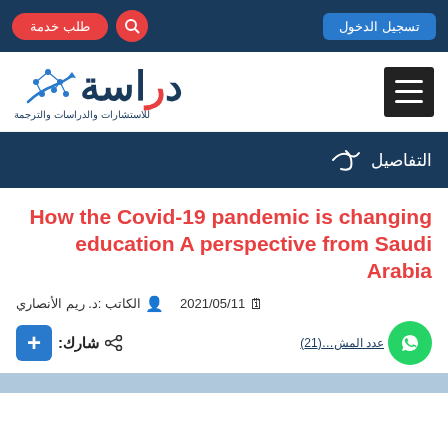طلب خدمة | تسجيل الدخول
[Figure (logo): Dirasa logo with Arabic text دراسة and network graphic, tagline للاستشارات والدراسات والترجمة]
التفاصيل
How the Covid-19 pandemic is changing education A perspective from Saudi Arabia
2021/05/11  الكاتب :د. ريم الأنصاري
شارك: + | عدد المشاهدات (21)